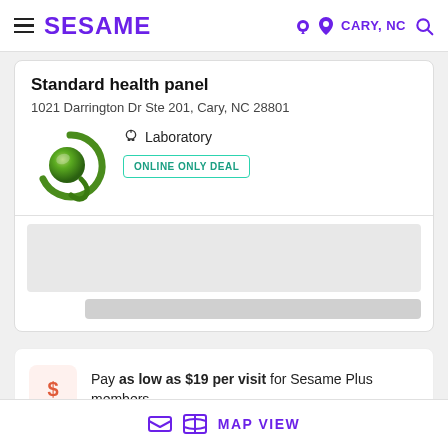SESAME | CARY, NC
Standard health panel
1021 Darrington Dr Ste 201, Cary, NC 28801
[Figure (logo): Quest Diagnostics green swirl logo]
Laboratory
ONLINE ONLY DEAL
Pay as low as $19 per visit for Sesame Plus members.
MAP VIEW